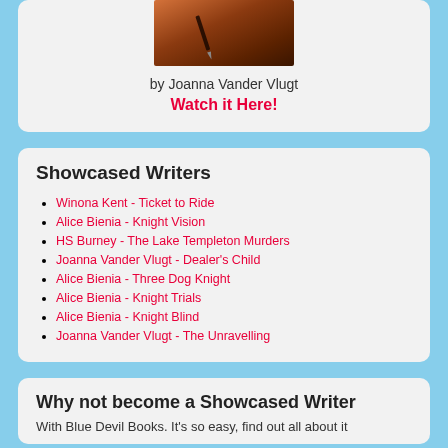[Figure (photo): A close-up photo of a pen or writing instrument on a warm amber/brown background]
by Joanna Vander Vlugt
Watch it Here!
Showcased Writers
Winona Kent - Ticket to Ride
Alice Bienia - Knight Vision
HS Burney - The Lake Templeton Murders
Joanna Vander Vlugt - Dealer's Child
Alice Bienia - Three Dog Knight
Alice Bienia - Knight Trials
Alice Bienia - Knight Blind
Joanna Vander Vlugt - The Unravelling
Why not become a Showcased Writer
With Blue Devil Books. It's so easy, find out all about it